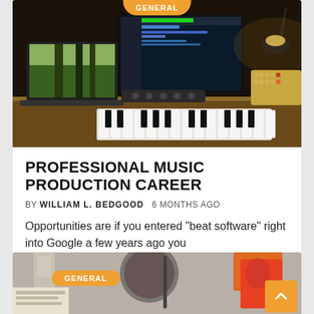[Figure (photo): Music production studio setup with laptop showing forest scene, monitor with DAW software, synthesizer keyboard, MIDI controller, and desk lamp in a dimly lit room]
PROFESSIONAL MUSIC PRODUCTION CAREER
BY WILLIAM L. BEDGOOD   6 MONTHS AGO
Opportunities are if you entered “beat software” right into Google a few years ago you
[Figure (photo): Flat lay of a glass of wine with a straw, orange playing cards, a book, and other items on a gray surface with GENERAL badge overlay and scroll-to-top button]